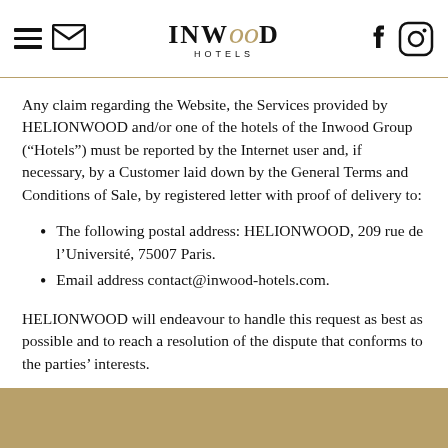INWOOD HOTELS
Any claim regarding the Website, the Services provided by HELIONWOOD and/or one of the hotels of the Inwood Group (“Hotels”) must be reported by the Internet user and, if necessary, by a Customer laid down by the General Terms and Conditions of Sale, by registered letter with proof of delivery to:
The following postal address: HELIONWOOD, 209 rue de l’Université, 75007 Paris.
Email address contact@inwood-hotels.com.
HELIONWOOD will endeavour to handle this request as best as possible and to reach a resolution of the dispute that conforms to the parties’ interests.
Failing an amicable resolution of the dispute, the Customer shall be able to refer the dispute to the Travel and Tourism Sector…